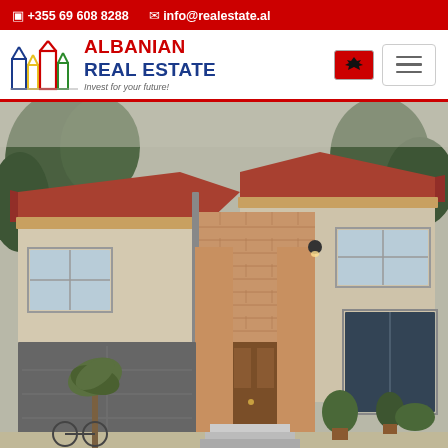☎ +355 69 608 8288   ✉ info@realestate.al
[Figure (logo): Albanian Real Estate logo with colorful building silhouettes and text 'ALBANIAN REAL ESTATE - Invest for your future!']
[Figure (photo): Exterior photo of a two-story residential villa with brick facade, tiled roof, garage, entrance with wall lamps, and landscaped garden]